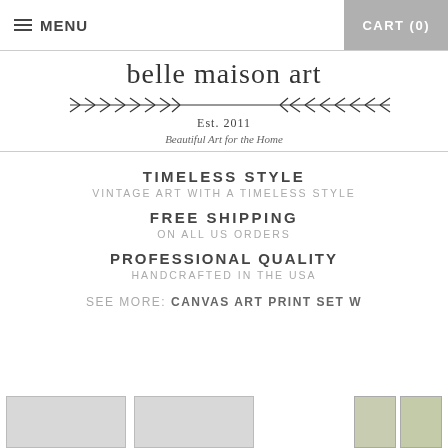MENU  CART (0)
[Figure (logo): Belle Maison Art logo with decorative branch/leaf divider, Est. 2011, Beautiful Art for the Home]
TIMELESS STYLE
VINTAGE ART WITH A TIMELESS STYLE
FREE SHIPPING
ON ALL US ORDERS
PROFESSIONAL QUALITY
HANDCRAFTED IN THE USA
SEE MORE: CANVAS ART PRINT SET W
[Figure (photo): Bottom product thumbnails strip showing art prints]